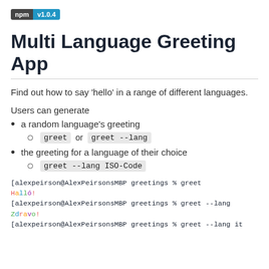[Figure (logo): npm badge with version v1.0.4]
Multi Language Greeting App
Find out how to say 'hello' in a range of different languages.
Users can generate
a random language's greeting
greet or greet --lang
the greeting for a language of their choice
greet --lang ISO-Code
[alexpeirson@AlexPeirsonsMBP greetings % greet
Halló!
[alexpeirson@AlexPeirsonsMBP greetings % greet --lang
Zdravo!
[alexpeirson@AlexPeirsonsMBP greetings % greet --lang it